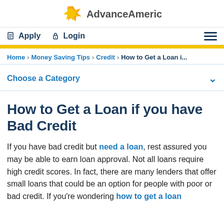[Figure (logo): Advance America logo with orange/yellow star-like icon on the left and bold gray text 'AdvanceAmerica.' on the right]
Apply  Login  [hamburger menu]
Home › Money Saving Tips › Credit › How to Get a Loan i...
Choose a Category
How to Get a Loan if you have Bad Credit
If you have bad credit but need a loan, rest assured you may be able to earn loan approval. Not all loans require high credit scores. In fact, there are many lenders that offer small loans that could be an option for people with poor or bad credit. If you're wondering how to get a loan